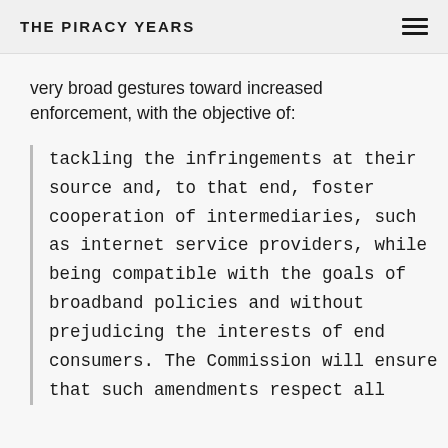THE PIRACY YEARS
very broad gestures toward increased enforcement, with the objective of:
tackling the infringements at their source and, to that end, foster cooperation of intermediaries, such as internet service providers, while being compatible with the goals of broadband policies and without prejudicing the interests of end consumers. The Commission will ensure that such amendments respect all